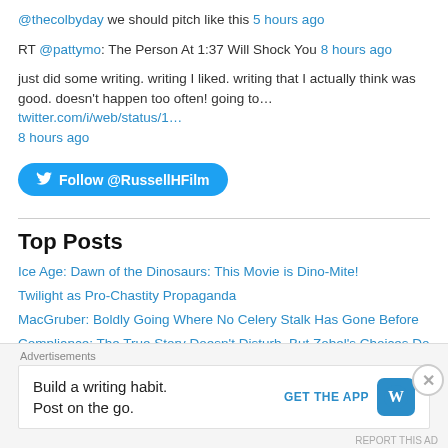@thecolbyday we should pitch like this 5 hours ago
RT @pattymo: The Person At 1:37 Will Shock You 8 hours ago
just did some writing. writing I liked. writing that I actually think was good. doesn't happen too often! going to… twitter.com/i/web/status/1… 8 hours ago
Follow @RussellHFilm
Top Posts
Ice Age: Dawn of the Dinosaurs: This Movie is Dino-Mite!
Twilight as Pro-Chastity Propaganda
MacGruber: Boldly Going Where No Celery Stalk Has Gone Before
Compliance: The True Story Doesn't Disturb, But Zobel's Choices Do
Advertisements
Build a writing habit. Post on the go. GET THE APP